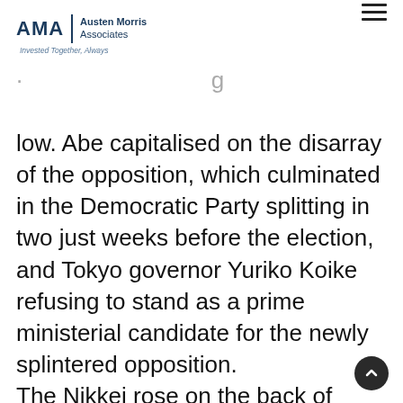AMA | Austen Morris Associates — Invested Together, Always
low. Abe capitalised on the disarray of the opposition, which culminated in the Democratic Party splitting in two just weeks before the election, and Tokyo governor Yuriko Koike refusing to stand as a prime ministerial candidate for the newly splintered opposition. The Nikkei rose on the back of